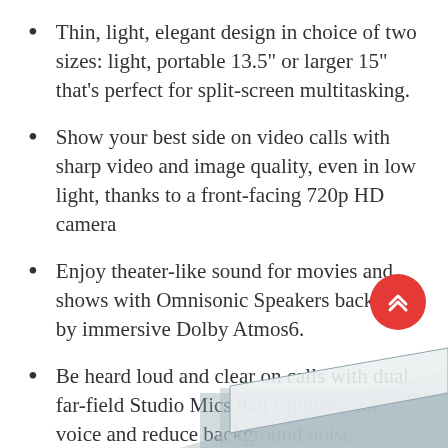Thin, light, elegant design in choice of two sizes: light, portable 13.5" or larger 15" that's perfect for split-screen multitasking.
Show your best side on video calls with sharp video and image quality, even in low light, thanks to a front-facing 720p HD camera
Enjoy theater-like sound for movies and shows with Omnisonic Speakers backed by immersive Dolby Atmos6.
Be heard loud and clear on calls with dual far-field Studio Mics that capture your voice and reduce background noise.
[Figure (photo): Bottom corner of a laptop device visible at bottom right of page, with a red FAB (floating action button) with double chevron up icon in the lower right corner]